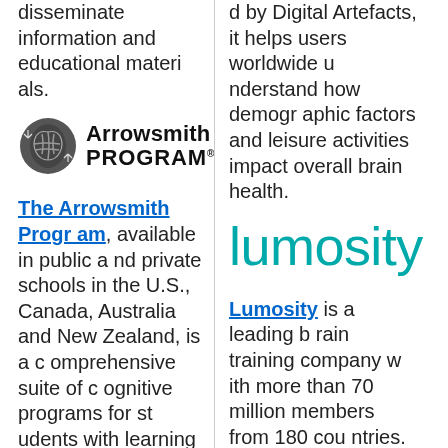disseminate information and educational materials.
[Figure (logo): Arrowsmith Program logo with brain icon and bold text 'Arrowsmith PROGRAM']
The Arrowsmith Program, available in public and private schools in the U.S., Canada, Australia and New Zealand, is a comprehensive suite of cognitive programs for students with learning disabilities that targets 19 areas that are most commonly involved in lear
d by Digital Artefacts, it helps users worldwide understand how demographic factors and leisure activities impact overall brain health.
[Figure (logo): Lumosity logo in teal/cyan color, large stylized text]
Lumosity is a leading brain training company with more than 70 million members from 180 countries. Founded in 2005 and launched in 2007, Lumosity offers more than 40 games that are designed to challenge core